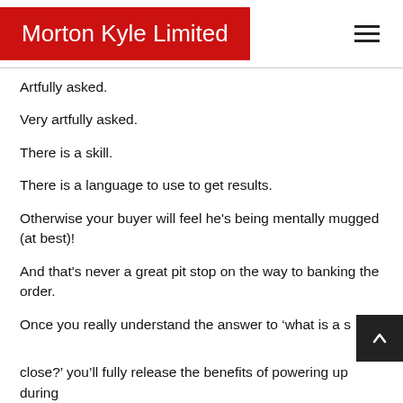Morton Kyle Limited
Artfully asked.
Very artfully asked.
There is a skill.
There is a language to use to get results.
Otherwise your buyer will feel he's being mentally mugged (at best)!
And that's never a great pit stop on the way to banking the order.
Once you really understand the answer to ‘what is a s… close?’ you'll fully release the benefits of powering up during